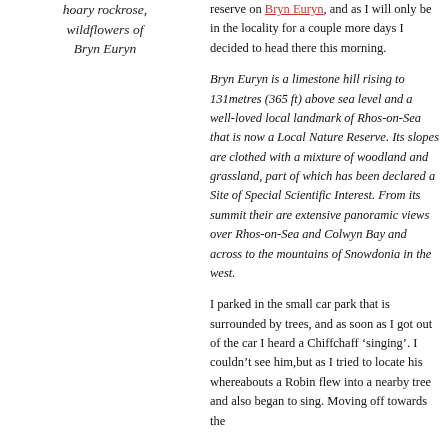hoary rockrose, wildflowers of Bryn Euryn
reserve on Bryn Euryn, and as I will only be in the locality for a couple more days I decided to head there this morning.
Bryn Euryn is a limestone hill rising to 131metres (365 ft) above sea level and a well-loved local landmark of Rhos-on-Sea that is now a Local Nature Reserve. Its slopes are clothed with a mixture of woodland and grassland, part of which has been declared a Site of Special Scientific Interest. From its summit their are extensive panoramic views over Rhos-on-Sea and Colwyn Bay and across to the mountains of Snowdonia in the west.
I parked in the small car park that is surrounded by trees, and as soon as I got out of the car I heard a Chiffchaff ‘singing’. I couldn’t see him,but as I tried to locate his whereabouts a Robin flew into a nearby tree and also began to sing. Moving off towards the